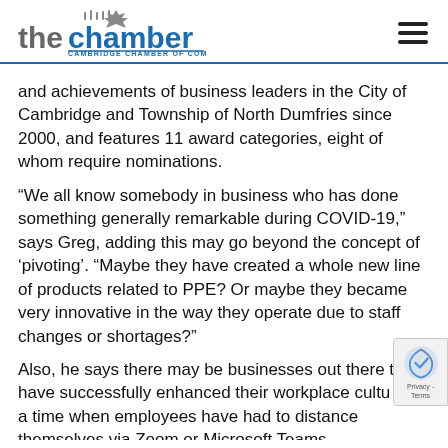thechamber CAMBRIDGE CHAMBER OF COMMERCE
and achievements of business leaders in the City of Cambridge and Township of North Dumfries since 2000, and features 11 award categories, eight of whom require nominations.
“We all know somebody in business who has done something generally remarkable during COVID-19,” says Greg, adding this may go beyond the concept of ‘pivoting’. “Maybe they have created a whole new line of products related to PPE? Or maybe they became very innovative in the way they operate due to staff changes or shortages?”
Also, he says there may be businesses out there that have successfully enhanced their workplace culture at a time when employees have had to distance themselves via Zoom or Microsoft Teams.